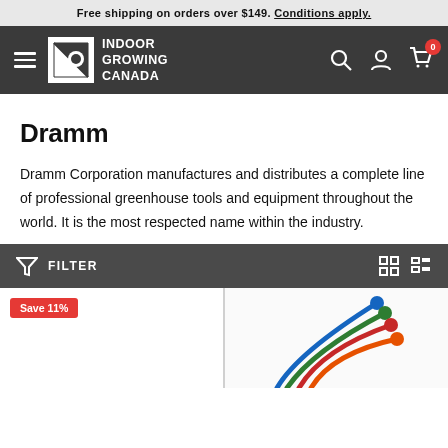Free shipping on orders over $149. Conditions apply.
[Figure (logo): Indoor Growing Canada logo with navigation bar on dark grey background, hamburger menu, search, account, and cart icons]
Dramm
Dramm Corporation manufactures and distributes a complete line of professional greenhouse tools and equipment throughout the world. It is the most respected name within the industry.
FILTER
[Figure (photo): Product card showing Save 11% badge on left, and a product card on the right showing colorful curved stakes/watering wands in blue, green, red, and orange]
Save 11%